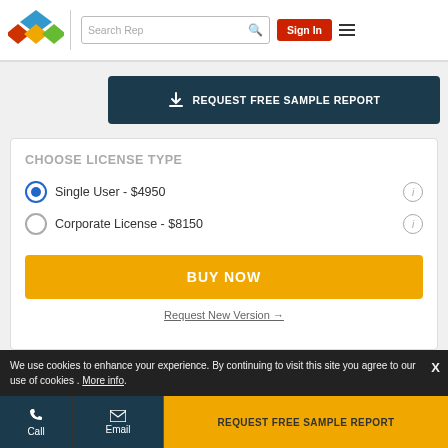[Figure (logo): Colorful diamond/rhombus logo with blue, red, and green shapes]
Search Rep
Sign In
REQUEST FREE SAMPLE REPORT
CHOOSE LICENSE TYPE
Single User - $4950
Corporate License - $8150
BUY NOW
Request New Version →
We use cookies to enhance your experience. By continuing to visit this site you agree to our use of cookies . More info.
Call
Email
REQUEST FREE SAMPLE REPORT